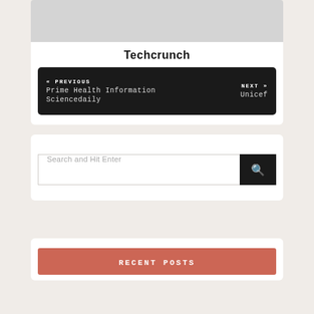[Figure (photo): Gray placeholder image at top of card]
Techcrunch
« PREVIOUS Prime Health Information Sciencedaily  NEXT » Unicef
Search and Hit Enter
RECENT POSTS